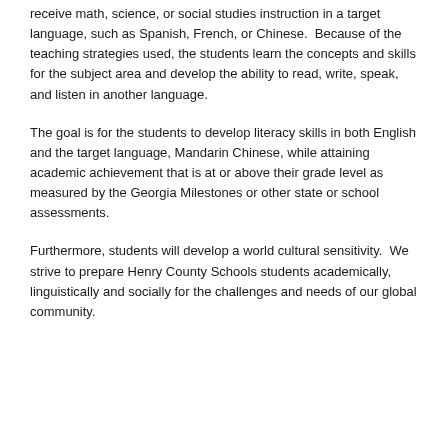receive math, science, or social studies instruction in a target language, such as Spanish, French, or Chinese.  Because of the teaching strategies used, the students learn the concepts and skills for the subject area and develop the ability to read, write, speak, and listen in another language.
The goal is for the students to develop literacy skills in both English and the target language, Mandarin Chinese, while attaining academic achievement that is at or above their grade level as measured by the Georgia Milestones or other state or school assessments.
Furthermore, students will develop a world cultural sensitivity.  We strive to prepare Henry County Schools students academically, linguistically and socially for the challenges and needs of our global community.